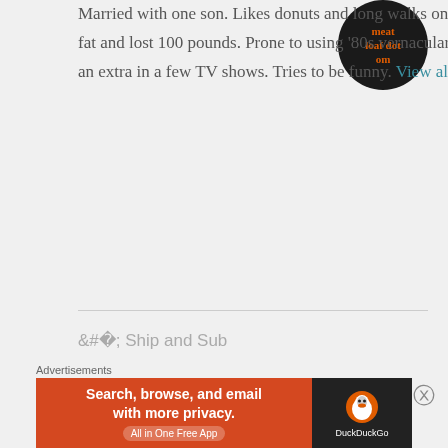Married with one son. Likes donuts and long walks on the beach. Got tired of being fat and lost 100 pounds. Prone to using '80s vernacular. Works as a proofreader. Was an extra in a few TV shows. Tries to be funny. View all posts by Dave
[Figure (illustration): Black circular avatar with orange text reading 'meat loaf dot om']
< Ship and Sub
@ Wrightwood! >
2 thoughts on “Meme for Today”
Advertisements
[Figure (infographic): DuckDuckGo advertisement banner: orange section with 'Search, browse, and email with more privacy.' and 'All in One Free App' button; dark section with DuckDuckGo duck logo and text 'DuckDuckGo']